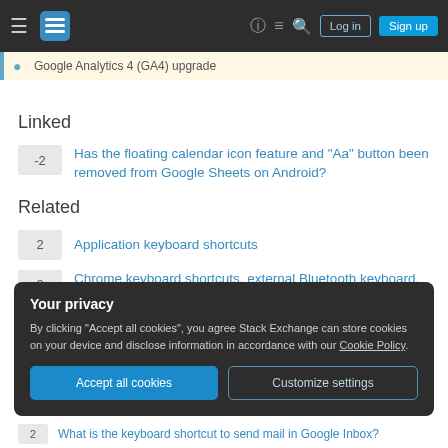Stack Exchange navigation bar with Log in and Sign up buttons
Google Analytics 4 (GA4) upgrade
Linked
-2  Has the floating calendar icon feature and "Aa" button been removed from Google Sheets on Android?
Related
2  Application keyboard shortcuts
0  Chrome keyboard shortcuts, external Bluetooth keyboard, Samsung Galaxy Tab
Your privacy
By clicking "Accept all cookies", you agree Stack Exchange can store cookies on your device and disclose information in accordance with our Cookie Policy.
2  What is the keyboard shortcut to send mail in Google Inbox?